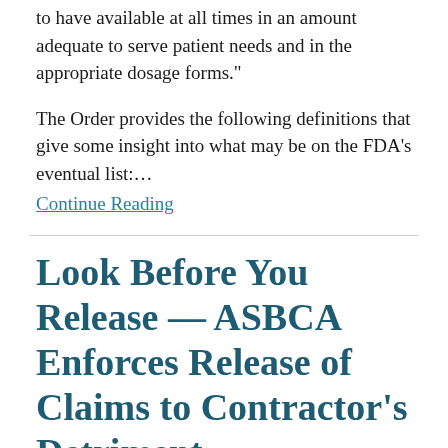to have available at all times in an amount adequate to serve patient needs and in the appropriate dosage forms."
The Order provides the following definitions that give some insight into what may be on the FDA's eventual list:…
Continue Reading
Look Before You Release — ASBCA Enforces Release of Claims to Contractor's Detriment
By Kayleigh Scalzo & Carl Wiersum on July 16, 2020